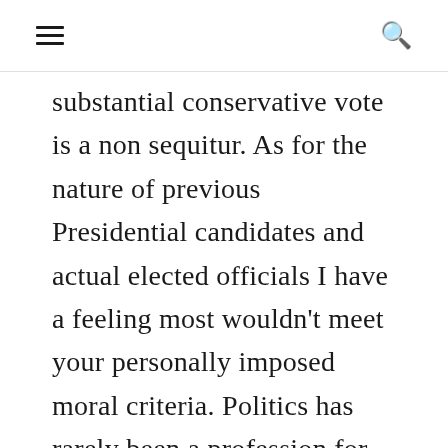≡  🔍
substantial conservative vote is a non sequitur. As for the nature of previous Presidential candidates and actual elected officials I have a feeling most wouldn't meet your personally imposed moral criteria. Politics has rarely been a profession for the morally pure and